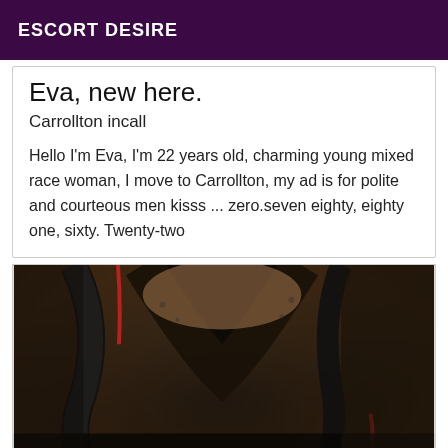ESCORT DESIRE
Eva, new here.
Carrollton incall
Hello I'm Eva, I'm 22 years old, charming young mixed race woman, I move to Carrollton, my ad is for polite and courteous men kisss ... zero.seven eighty, eighty one, sixty. Twenty-two
[Figure (photo): Close-up photo of a person wearing dark black lace lingerie]